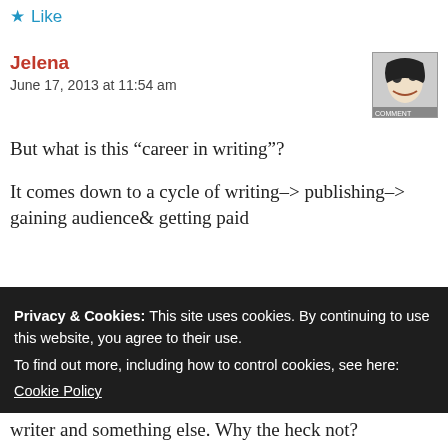Like
Jelena
June 17, 2013 at 11:54 am
But what is this “career in writing”?

It comes down to a cycle of writing–> publishing–> gaining audience& getting paid
Privacy & Cookies: This site uses cookies. By continuing to use this website, you agree to their use.
To find out more, including how to control cookies, see here:
Cookie Policy
Close and accept
writer and something else. Why the heck not?